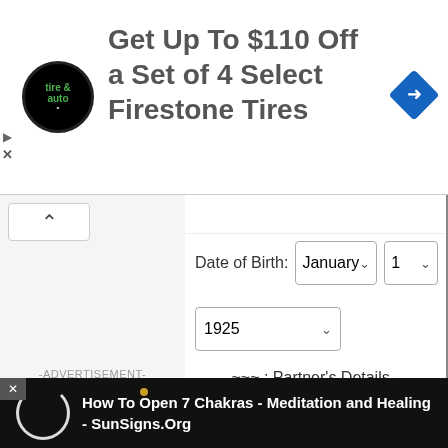[Figure (screenshot): Advertisement banner: Firestone tire ad with logo and navigation arrow icon. Text: 'Get Up To $110 Off a Set of 4 Select Firestone Tires']
[Figure (screenshot): Web form screenshot showing Date of Birth dropdowns with January and 1 selected, year 1925, and Partner's Details - Name label. Below is a video overlay for 'How To Open 7 Chakras - Meditation and Healing - SunSigns.Org' and a Calculate Now button.]